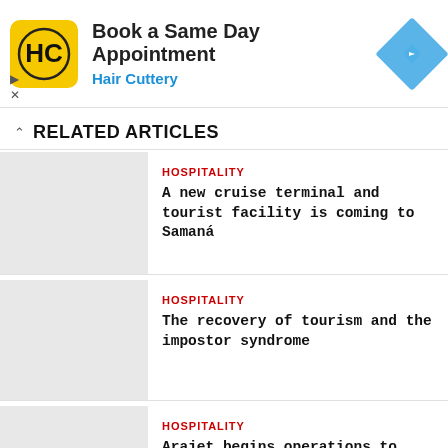[Figure (other): Hair Cuttery advertisement banner with yellow logo, 'Book a Same Day Appointment' text, and blue diamond navigation icon]
RELATED ARTICLES
HOSPITALITY
A new cruise terminal and tourist facility is coming to Samaná
HOSPITALITY
The recovery of tourism and the impostor syndrome
HOSPITALITY
Arajet begins operations to Latin